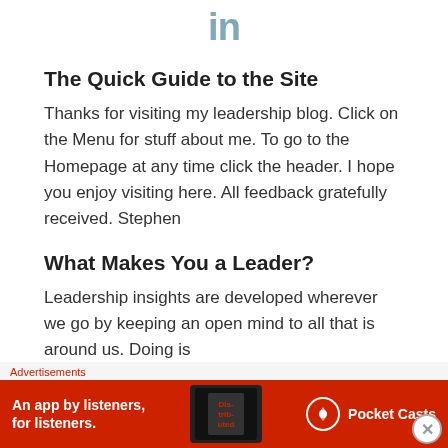in
The Quick Guide to the Site
Thanks for visiting my leadership blog. Click on the Menu for stuff about me. To go to the Homepage at any time click the header. I hope you enjoy visiting here. All feedback gratefully received. Stephen
What Makes You a Leader?
Leadership insights are developed wherever we go by keeping an open mind to all that is around us. Doing is
Advertisements
[Figure (other): Pocket Casts advertisement banner: red background with text 'An app by listeners, for listeners.' and Pocket Casts logo with a phone image showing 'Distributed']